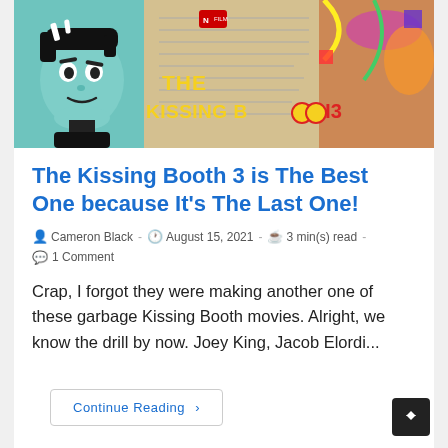[Figure (photo): Movie poster/banner for 'The Kissing Booth 3' Netflix film, showing a cartoon character on the left and a woman on the right with colorful abstract art, with the title 'THE KISSING BOOTH 3' in large yellow and red text]
The Kissing Booth 3 is The Best One because It's The Last One!
Cameron Black  -  August 15, 2021  -  3 min(s) read  -  1 Comment
Crap, I forgot they were making another one of these garbage Kissing Booth movies. Alright, we know the drill by now. Joey King, Jacob Elordi...
Continue Reading >